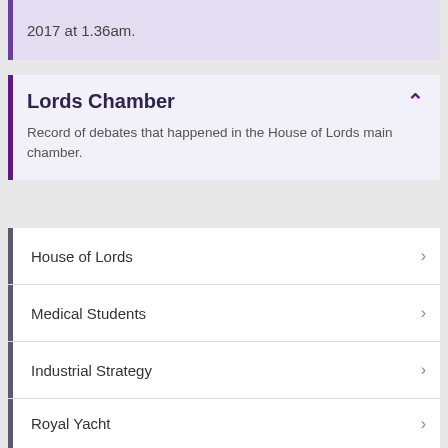2017 at 1.36am.
Lords Chamber
Record of debates that happened in the House of Lords main chamber.
House of Lords
Medical Students
Industrial Strategy
Royal Yacht
Prevent Strategy